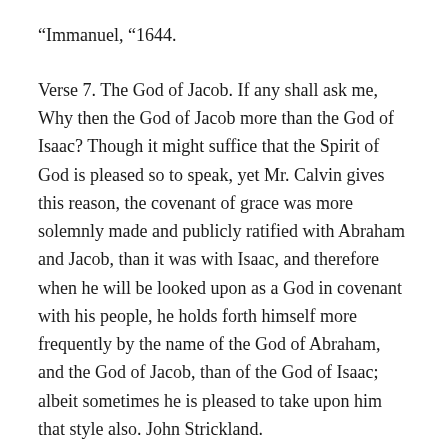“Immanuel, “1644.
Verse 7. The God of Jacob. If any shall ask me, Why then the God of Jacob more than the God of Isaac? Though it might suffice that the Spirit of God is pleased so to speak, yet Mr. Calvin gives this reason, the covenant of grace was more solemnly made and publicly ratified with Abraham and Jacob, than it was with Isaac, and therefore when he will be looked upon as a God in covenant with his people, he holds forth himself more frequently by the name of the God of Abraham, and the God of Jacob, than of the God of Isaac; albeit sometimes he is pleased to take upon him that style also. John Strickland.
Verse 7. Our refuge. Our refuge, or stronghold,